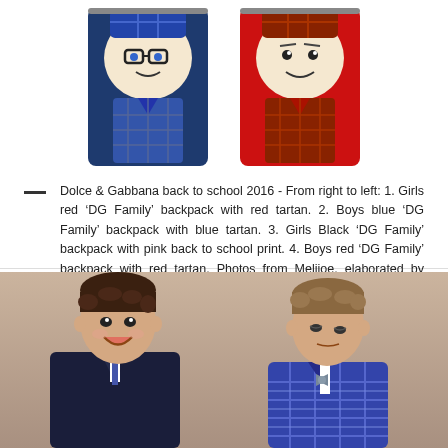[Figure (photo): Two Dolce & Gabbana children's backpacks with cartoon face designs. Left: boys blue 'DG Family' backpack with navy/blue tartan and boy face with glasses. Right: girls red 'DG Family' backpack with red tartan and smiling boy/girl face.]
Dolce & Gabbana back to school 2016 - From right to left: 1. Girls red 'DG Family' backpack with red tartan. 2. Boys blue 'DG Family' backpack with blue tartan. 3. Girls Black 'DG Family' backpack with pink back to school print. 4. Boys red 'DG Family' backpack with red tartan. Photos from Melijoe, elaborated by Fannice Kids Fashion.
[Figure (photo): Two young boys in Dolce & Gabbana suits. Left boy wears a dark navy coat and tie, smiling. Right boy wears a blue plaid/tartan blazer with a bow tie, looking downward.]